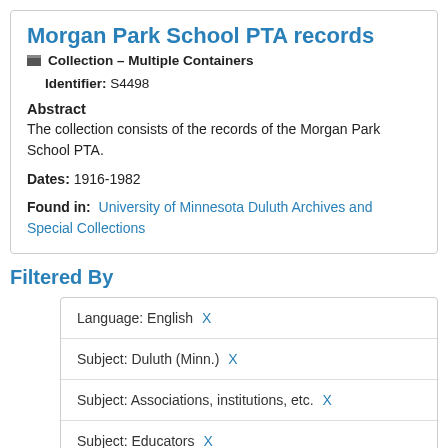Morgan Park School PTA records
Collection – Multiple Containers
Identifier: S4498
Abstract
The collection consists of the records of the Morgan Park School PTA.
Dates: 1916-1982
Found in: University of Minnesota Duluth Archives and Special Collections
Filtered By
Language: English X
Subject: Duluth (Minn.) X
Subject: Associations, institutions, etc. X
Subject: Educators X